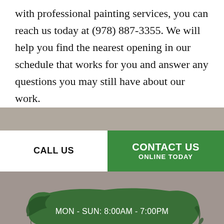with professional painting services, you can reach us today at (978) 887-3355. We will help you find the nearest opening in our schedule that works for you and answer any questions you may still have about our work.
CALL US
CONTACT US ONLINE TODAY
MON - SUN: 8:00AM - 7:00PM